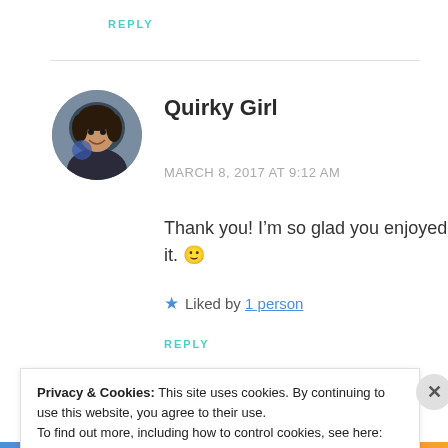REPLY
[Figure (photo): Circular avatar photo of a woman smiling, dark background]
Quirky Girl
MARCH 8, 2017 AT 9:12 AM
Thank you! I’m so glad you enjoyed it. 🙂
★ Liked by 1 person
REPLY
Privacy & Cookies: This site uses cookies. By continuing to use this website, you agree to their use.
To find out more, including how to control cookies, see here: Cookie Policy
Close and accept